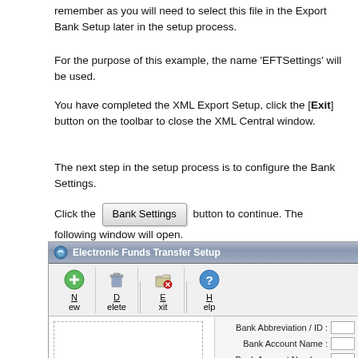remember as you will need to select this file in the Export Bank Setup later in the setup process.
For the purpose of this example, the name 'EFTSettings' will be used.
You have completed the XML Export Setup, click the [Exit] button on the toolbar to close the XML Central window.
The next step in the setup process is to configure the Bank Settings.
Click the [Bank Settings] button to continue. The following window will open.
[Figure (screenshot): Electronic Funds Transfer Setup window showing toolbar with New, Delete, Exit, Help buttons and form fields for Bank Abbreviation / ID, Bank Account Name, Bank Account Number, Bank User ID]